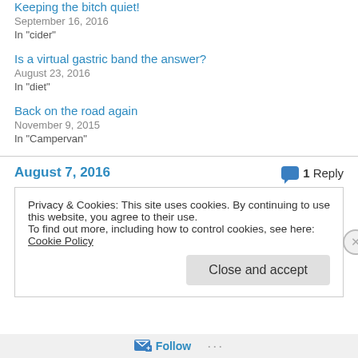Keeping the bitch quiet!
September 16, 2016
In "cider"
Is a virtual gastric band the answer?
August 23, 2016
In "diet"
Back on the road again
November 9, 2015
In "Campervan"
August 7, 2016
1 Reply
Privacy & Cookies: This site uses cookies. By continuing to use this website, you agree to their use.
To find out more, including how to control cookies, see here: Cookie Policy
Close and accept
Follow